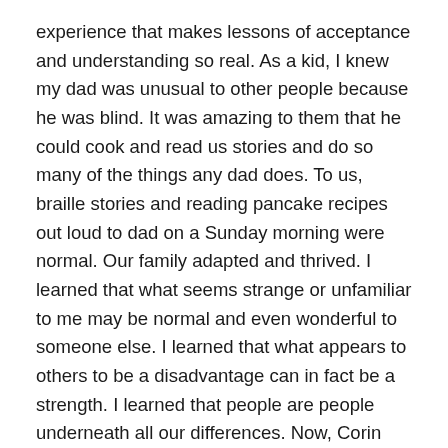experience that makes lessons of acceptance and understanding so real. As a kid, I knew my dad was unusual to other people because he was blind. It was amazing to them that he could cook and read us stories and do so many of the things any dad does. To us, braille stories and reading pancake recipes out loud to dad on a Sunday morning were normal. Our family adapted and thrived. I learned that what seems strange or unfamiliar to me may be normal and even wonderful to someone else. I learned that what appears to others to be a disadvantage can in fact be a strength. I learned that people are people underneath all our differences. Now, Corin will live those same lessons through his grandpa and his sister.
What parent wouldn't want that for their child?